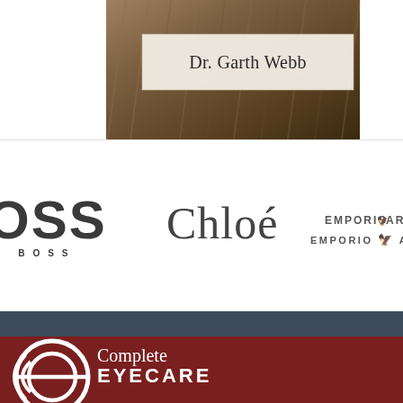[Figure (photo): Portrait photo of Dr. Garth Webb with a name label overlay on a warm brown background]
Dr. Garth Webb
[Figure (logo): BOSS Hugo Boss logo - large OSS letters visible with BOSS text below]
[Figure (logo): Chloé fashion brand logo in large serif font]
[Figure (logo): EMPORIO ARMANI logo with eagle emblem]
[Figure (logo): Complete Eyecare logo with circular eye/letter graphic on dark red background]